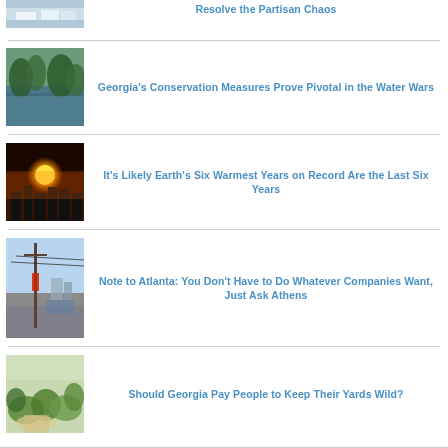[Figure (photo): Partial view of flooded or icy scene, top of page]
Resolve the Partisan Chaos
[Figure (photo): River with trees along banks in Georgia]
Georgia's Conservation Measures Prove Pivotal in the Water Wars
[Figure (photo): Silhouette of city skyline against orange sunset]
It's Likely Earth's Six Warmest Years on Record Are the Last Six Years
[Figure (photo): Street scene with utility pole and blue sky]
Note to Atlanta: You Don't Have to Do Whatever Companies Want, Just Ask Athens
[Figure (photo): Wild garden yard with native plants]
Should Georgia Pay People to Keep Their Yards Wild?